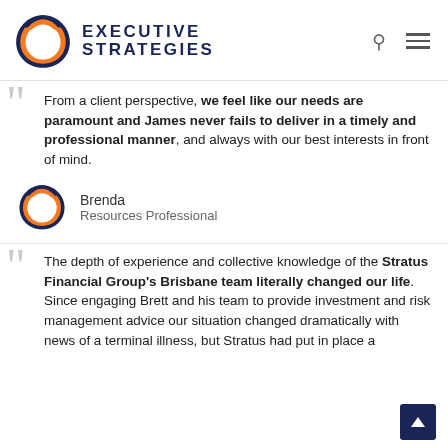[Figure (logo): Executive Strategies logo with orange/navy teardrop shape and bold text EXECUTIVE STRATEGIES]
From a client perspective, we feel like our needs are paramount and James never fails to deliver in a timely and professional manner, and always with our best interests in front of mind.
[Figure (logo): Small Executive Strategies teardrop logo icon]
Brenda
Resources Professional
The depth of experience and collective knowledge of the Stratus Financial Group's Brisbane team literally changed our life. Since engaging Brett and his team to provide investment and risk management advice our situation changed dramatically with news of a terminal illness, but Stratus had put in place a